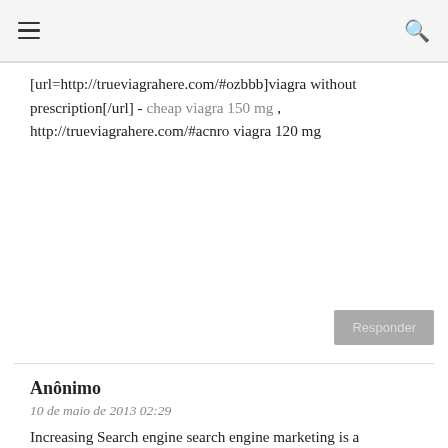☰  🔍
[url=http://trueviagrahere.com/#ozbbb]viagra without prescription[/url] - cheap viagra 150 mg , http://trueviagrahere.com/#acnro viagra 120 mg
Responder
Anônimo
10 de maio de 2013 02:29
Increasing Search engine search engine marketing is a gambled on patience